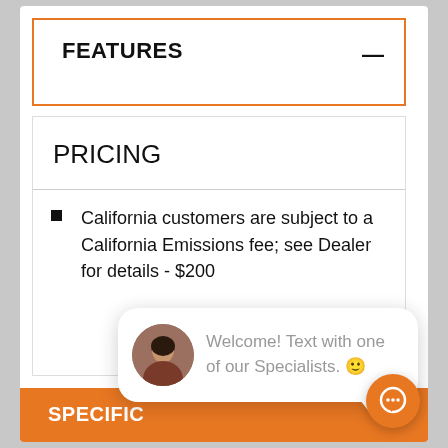FEATURES
PRICING
California customers are subject to a California Emissions fee; see Dealer for details - $200
close
SPECIFICATIONS
PHOTOS
PROMOTIONS
[Figure (illustration): Chat popup overlay with female agent avatar and text: Welcome! Text with one of our Specialists.]
[Figure (illustration): Orange circular chat FAB button with speech bubble icon]